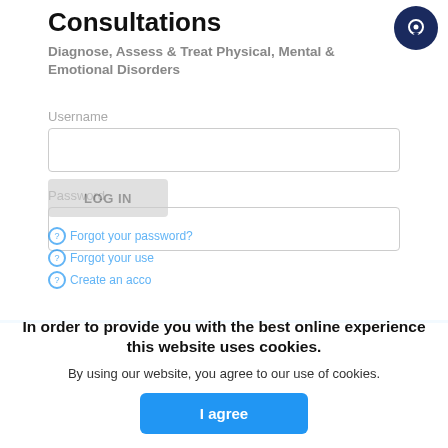Consultations
Diagnose, Assess & Treat Physical, Mental & Emotional Disorders
Username
Password
LOG IN
Forgot your password?
Forgot your username?
Create an account
In order to provide you with the best online experience this website uses cookies.
By using our website, you agree to our use of cookies.
I agree